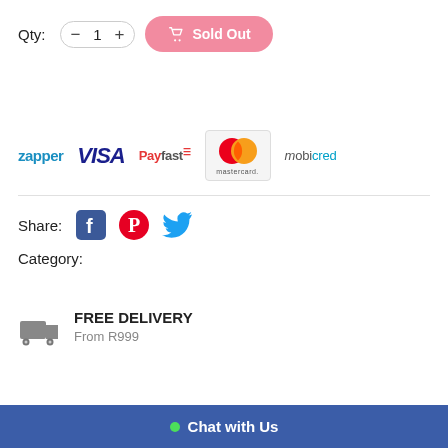Qty: 1   Sold Out
[Figure (logo): Payment method logos: zapper, VISA, PayFast, Mastercard, mobicred]
Share:
[Figure (infographic): Social share icons: Facebook, Pinterest, Twitter]
Category:
FREE DELIVERY
From R999
Chat with Us